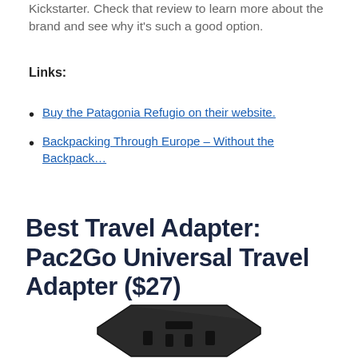Kickstarter. Check that review to learn more about the brand and see why it's such a good option.
Links:
Buy the Patagonia Refugio on their website.
Backpacking Through Europe – Without the Backpack…
Best Travel Adapter: Pac2Go Universal Travel Adapter ($27)
[Figure (photo): Photo of a black Pac2Go Universal Travel Adapter, a compact octagonal device with multiple plug slots visible on its face.]